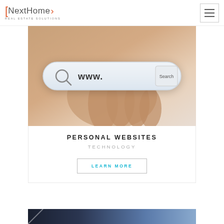NextHome Real Estate Solutions
[Figure (photo): A hand holding a search bar interface showing 'www.' with a search button, representing internet/web browsing]
PERSONAL WEBSITES
TECHNOLOGY
LEARN MORE
[Figure (photo): Partial bottom image, cropped, appears to show a dark/blue toned photo]